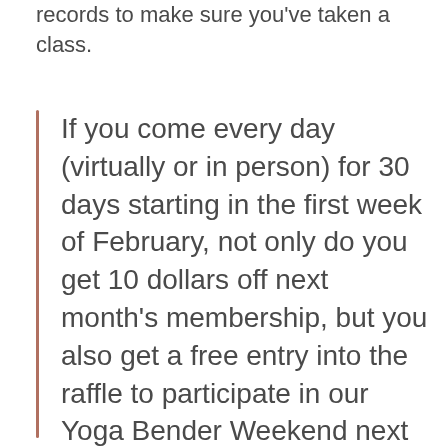records to make sure you've taken a class.
If you come every day (virtually or in person) for 30 days starting in the first week of February, not only do you get 10 dollars off next month's membership, but you also get a free entry into the raffle to participate in our Yoga Bender Weekend next month!